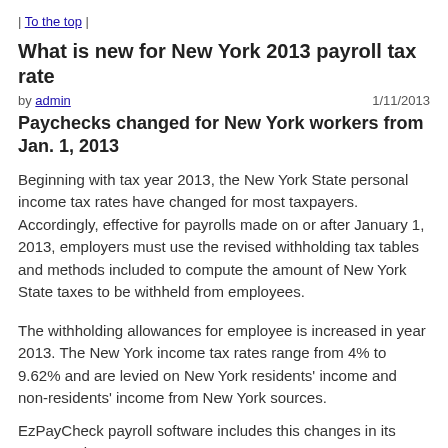| To the top |
What is new for New York 2013 payroll tax rate
by admin   1/11/2013
Paychecks changed for New York workers from Jan. 1, 2013
Beginning with tax year 2013, the New York State personal income tax rates have changed for most taxpayers. Accordingly, effective for payrolls made on or after January 1, 2013, employers must use the revised withholding tax tables and methods included to compute the amount of New York State taxes to be withheld from employees.
The withholding allowances for employee is increased in year 2013. The New York income tax rates range from 4% to 9.62% and are levied on New York residents' income and non-residents' income from New York sources.
EzPayCheck payroll software includes this changes in its 2013 version.
***********
The new New York 2013 Withholding Tables (Effective Jan 1, 2013)